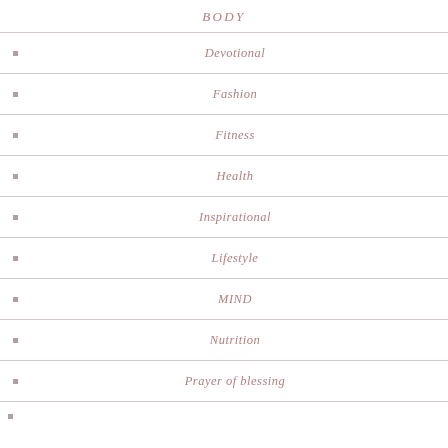BODY
Devotional
Fashion
Fitness
Health
Inspirational
Lifestyle
MIND
Nutrition
Prayer of blessing